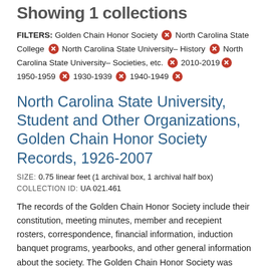Showing 1 collections
FILTERS: Golden Chain Honor Society  North Carolina State College  North Carolina State University– History  North Carolina State University– Societies, etc.  2010-2019  1950-1959  1930-1939  1940-1949
North Carolina State University, Student and Other Organizations, Golden Chain Honor Society Records, 1926-2007
SIZE: 0.75 linear feet (1 archival box, 1 archival half box)
COLLECTION ID: UA 021.461
The records of the Golden Chain Honor Society include their constitution, meeting minutes, member and recepient rosters, correspondence, financial information, induction banquet programs, yearbooks, and other general information about the society. The Golden Chain Honor Society was begun after a